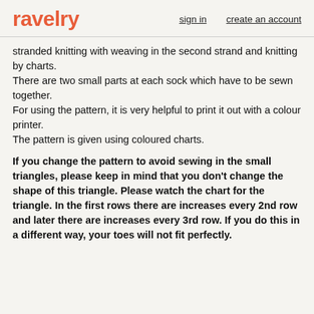ravelry | sign in | create an account
stranded knitting with weaving in the second strand and knitting by charts.
There are two small parts at each sock which have to be sewn together.
For using the pattern, it is very helpful to print it out with a colour printer.
The pattern is given using coloured charts.
If you change the pattern to avoid sewing in the small triangles, please keep in mind that you don't change the shape of this triangle. Please watch the chart for the triangle. In the first rows there are increases every 2nd row and later there are increases every 3rd row. If you do this in a different way, your toes will not fit perfectly.